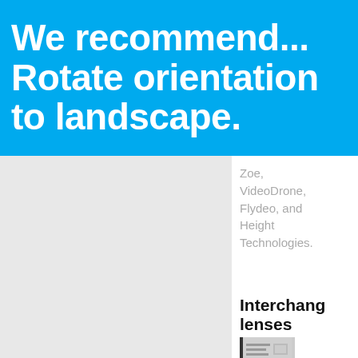We recommend... Rotate orientation to landscape.
Zoe, VideoDrone, Flydeo, and Height Technologies.
Interchangeable lenses
[Figure (photo): Small thumbnail image of a product or document]
The WIRIS Pro Sc thermal imaging camera can be purchased